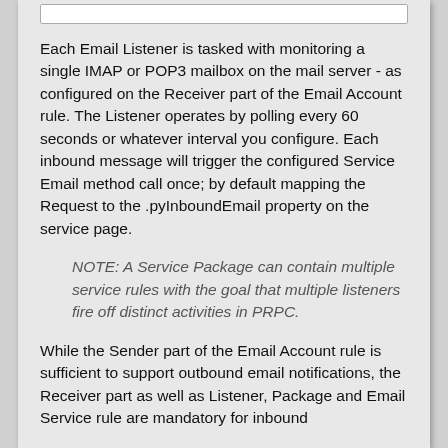Each Email Listener is tasked with monitoring a single IMAP or POP3 mailbox on the mail server - as configured on the Receiver part of the Email Account rule. The Listener operates by polling every 60 seconds or whatever interval you configure. Each inbound message will trigger the configured Service Email method call once; by default mapping the Request to the .pyInboundEmail property on the service page.
NOTE: A Service Package can contain multiple service rules with the goal that multiple listeners fire off distinct activities in PRPC.
While the Sender part of the Email Account rule is sufficient to support outbound email notifications, the Receiver part as well as Listener, Package and Email Service rule are mandatory for inbound